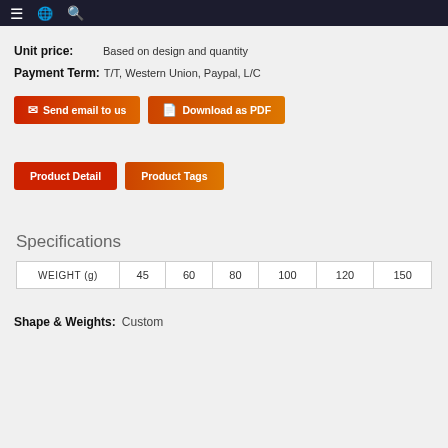Navigation bar with menu, translate, and search icons
Unit price: Based on design and quantity
Payment Term: T/T, Western Union, Paypal, L/C
Send email to us | Download as PDF
Product Detail | Product Tags
Specifications
| WEIGHT (g) | 45 | 60 | 80 | 100 | 120 | 150 |
| --- | --- | --- | --- | --- | --- | --- |
Shape & Weights: Custom